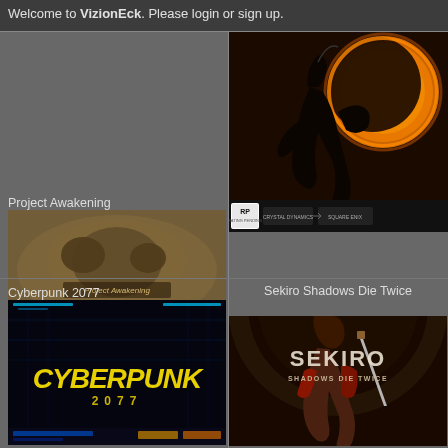Welcome to VizionEck. Please login or sign up.
Project Awakening
[Figure (photo): Project Awakening game cover art showing a monster creature in dusty, grey atmosphere with the game logo]
[Figure (photo): Shadow of the Tomb Raider game cover art showing Lara Croft in silhouette against a dark sun/eclipse with orange sky]
Cyberpunk 2077
[Figure (photo): Cyberpunk 2077 game cover showing the yellow Cyberpunk logo on dark background]
Sekiro Shadows Die Twice
[Figure (photo): Sekiro Shadows Die Twice game cover showing a samurai warrior holding a sword with the Sekiro logo]